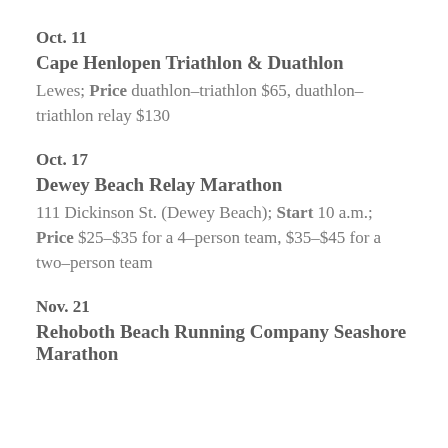Oct. 11
Cape Henlopen Triathlon & Duathlon
Lewes; Price duathlon–triathlon $65, duathlon–triathlon relay $130
Oct. 17
Dewey Beach Relay Marathon
111 Dickinson St. (Dewey Beach); Start 10 a.m.; Price $25–$35 for a 4–person team, $35–$45 for a two–person team
Nov. 21
Rehoboth Beach Running Company Seashore Marathon